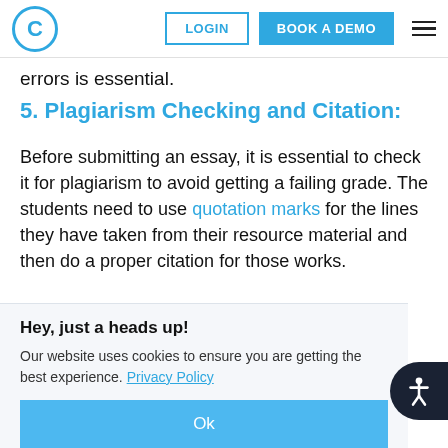C  LOGIN  BOOK A DEMO  ≡
errors is essential.
5. Plagiarism Checking and Citation:
Before submitting an essay, it is essential to check it for plagiarism to avoid getting a failing grade. The students need to use quotation marks for the lines they have taken from their resource material and then do a proper citation for those works.
Hey, just a heads up!
Our website uses cookies to ensure you are getting the best experience. Privacy Policy
Ok